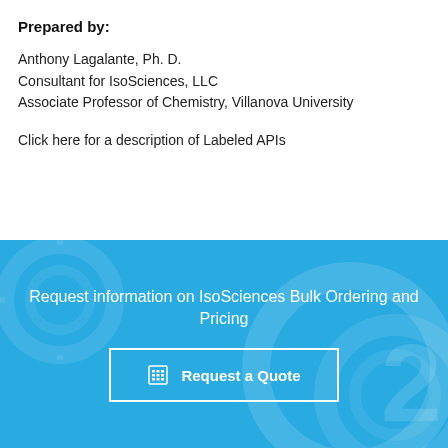Prepared by:
Anthony Lagalante, Ph. D.
Consultant for IsoSciences, LLC
Associate Professor of Chemistry, Villanova University
Click here for a description of Labeled APIs
Request information on IsoSciences Bulk Ordering and Pricing
Request a Quote